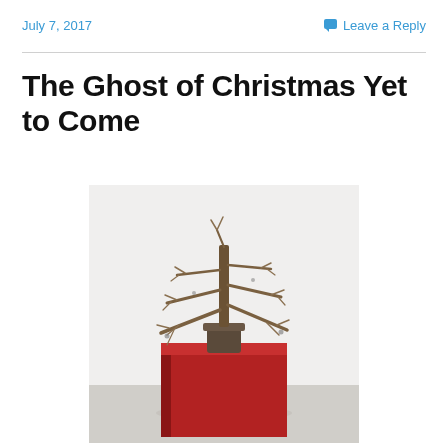July 7, 2017
Leave a Reply
The Ghost of Christmas Yet to Come
[Figure (photo): A bare, dead Christmas tree with sparse branches mounted in a small pot sitting atop a large red cubic plinth/pedestal, photographed against a white gallery wall with a concrete floor.]